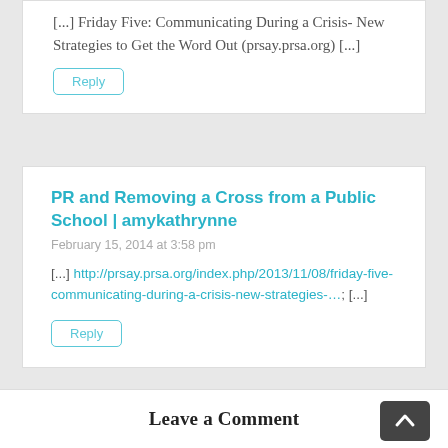[...] Friday Five: Communicating During a Crisis- New Strategies to Get the Word Out (prsay.prsa.org) [...]
Reply
PR and Removing a Cross from a Public School | amykathrynne
February 15, 2014 at 3:58 pm
[...] http://prsay.prsa.org/index.php/2013/11/08/friday-five-communicating-during-a-crisis-new-strategies-&#8230; [...]
Reply
Leave a Comment